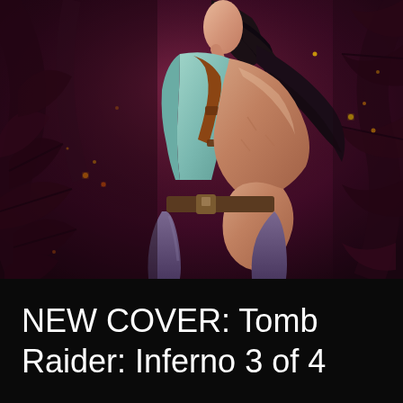[Figure (illustration): Anime/illustration style cover art showing Lara Croft in profile view (side-facing right), wearing a teal/mint tank top and brown shoulder holster straps, with dark purple-maroon jungle foliage and glowing embers/sparks in the background. Dark moody color palette with deep purples, magentas, and warm highlights.]
NEW COVER: Tomb Raider: Inferno 3 of 4